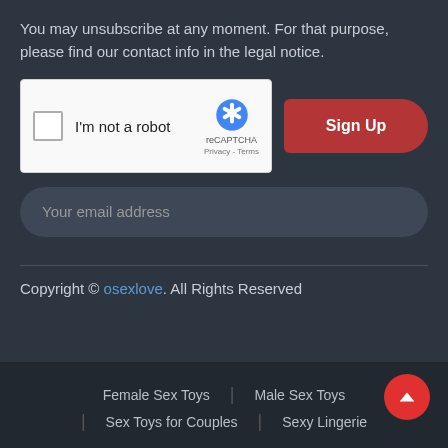You may unsubscribe at any moment. For that purpose, please find our contact info in the legal notice.
[Figure (screenshot): reCAPTCHA widget with checkbox labeled 'I'm not a robot', reCAPTCHA logo, Privacy and Terms links, and a red Sign Up button to the right]
Your email address
Copyright © osexlove. All Rights Reserved
Female Sex Toys | Male Sex Toys | Sex Toys for Couples | Sexy Lingerie